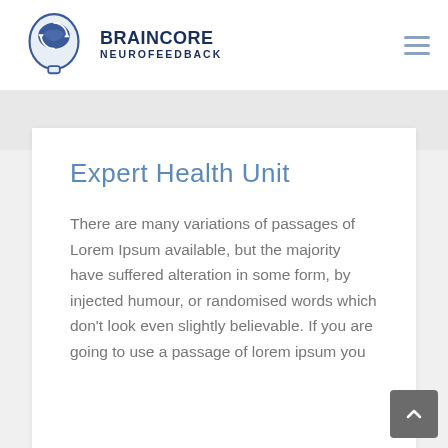[Figure (logo): BrainCore Neurofeedback logo: blue silhouette of a human head with a brain and circular arrows inside]
BRAINCORE NEUROFEEDBACK
Expert Health Unit
There are many variations of passages of Lorem Ipsum available, but the majority have suffered alteration in some form, by injected humour, or randomised words which don't look even slightly believable. If you are going to use a passage of lorem ipsum you